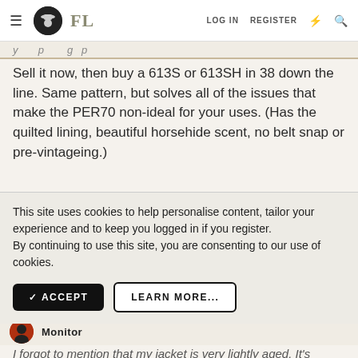FL | LOG IN | REGISTER
Sell it now, then buy a 613S or 613SH in 38 down the line. Same pattern, but solves all of the issues that make the PER70 non-ideal for your uses. (Has the quilted lining, beautiful horsehide scent, no belt snap or pre-vintageing.)
This site uses cookies to help personalise content, tailor your experience and to keep you logged in if you register.
By continuing to use this site, you are consenting to our use of cookies.
✓ ACCEPT   LEARN MORE...
Monitor
I forgot to mention that my jacket is very lightly aged. It's